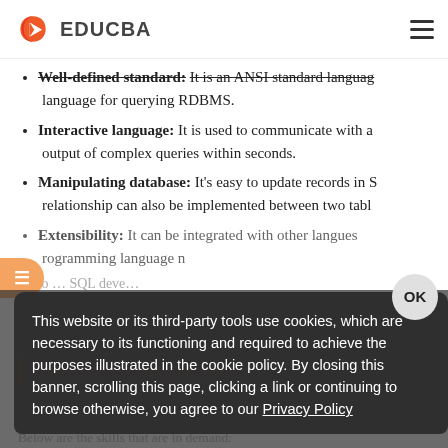EDUCBA
Well-defined standard: It is an ANSI standard language … language for querying RDBMS.
Interactive language: It is used to communicate with a … output of complex queries within seconds.
Manipulating database: It's easy to update records in S … relationship can also be implemented between two tabl…
Extensibility: It can be integrated with other langu…es … programming language …
Salary Comparison
Also … SQL deve…
This website or its third-party tools use cookies, which are necessary to its functioning and required to achieve the purposes illustrated in the cookie policy. By closing this banner, scrolling this page, clicking a link or continuing to browse otherwise, you agree to our Privacy Policy
Below are the skills that are in demand: